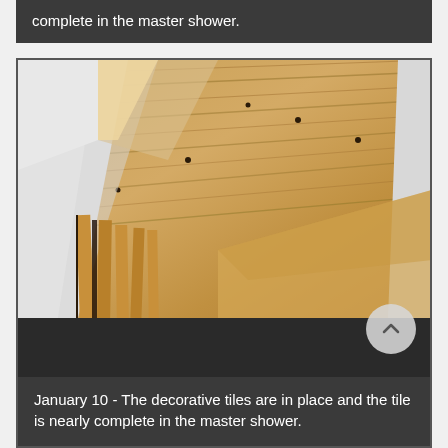complete in the master shower.
[Figure (photo): Interior construction photo showing wood-paneled ceiling with tongue-and-groove boards, visible framing lumber in lower portion, white drywall walls, and small circular holes/fasteners in the ceiling. The image is a close-up angled view of a room under construction, likely a master shower or bathroom area.]
January 10 - The decorative tiles are in place and the tile is nearly complete in the master shower.